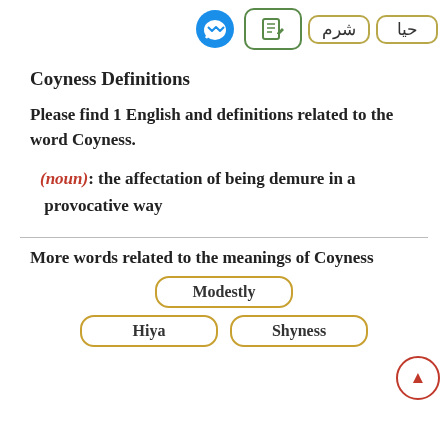[Figure (screenshot): Page header with Facebook Messenger icon, edit/document icon button, and two Arabic word buttons (شرم and حيا) with rounded borders]
Coyness Definitions
Please find 1 English and definitions related to the word Coyness.
(noun): the affectation of being demure in a provocative way
More words related to the meanings of Coyness
Modestly
Hiya  Shyness